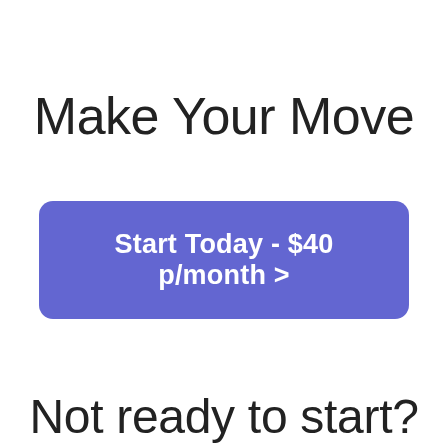Make Your Move
Start Today - $40 p/month >
Not ready to start?